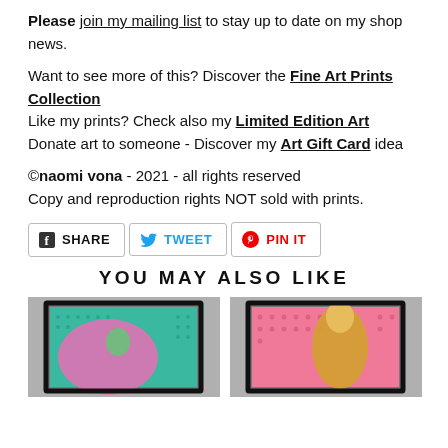Please join my mailing list to stay up to date on my shop news.
Want to see more of this? Discover the Fine Art Prints Collection
Like my prints? Check also my Limited Edition Art
Donate art to someone - Discover my Art Gift Card idea
©naomi vona - 2021 - all rights reserved
Copy and reproduction rights NOT sold with prints.
[Figure (infographic): Social share buttons: SHARE (Facebook), TWEET (Twitter), PIN IT (Pinterest)]
YOU MAY ALSO LIKE
[Figure (photo): Framed artwork showing colorful dotted pattern in teal and pink with abstract figure]
[Figure (photo): Framed artwork showing colorful dotted pattern in pink and gold with abstract figure]